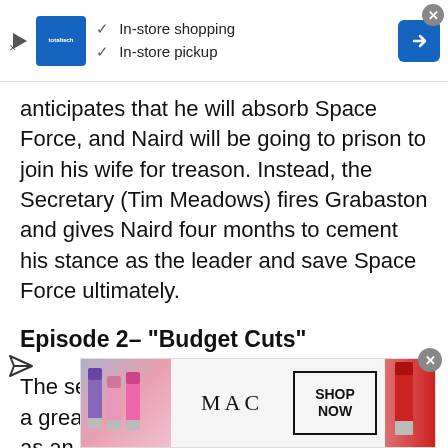[Figure (screenshot): Top advertisement banner with in-store shopping and in-store pickup options, blue logo, and blue arrow button]
anticipates that he will absorb Space Force, and Naird will be going to prison to join his wife for treason. Instead, the Secretary (Tim Meadows) fires Grabaston and gives Naird four months to cement his stance as the leader and save Space Force ultimately.
Episode 2– “Budget Cuts”
The second episode, “Budget Cuts,” has a great cameo from comic Patton Oswalt as an astronaut traveling to Mars only to have his mission cut short because of budget cuts. The episode strike to a workplace comedy reminiscent of the “Office.”
[Figure (screenshot): Bottom advertisement banner for MAC cosmetics with lipsticks and SHOP NOW button]